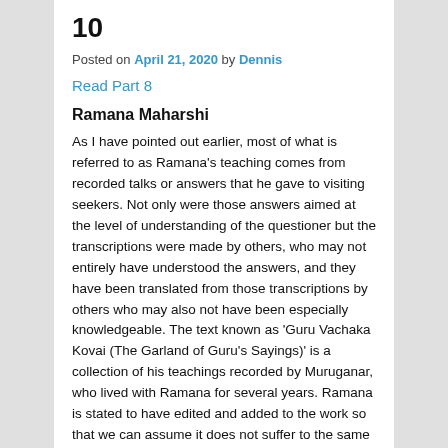10
Posted on April 21, 2020 by Dennis
Read Part 8
Ramana Maharshi
As I have pointed out earlier, most of what is referred to as Ramana's teaching comes from recorded talks or answers that he gave to visiting seekers. Not only were those answers aimed at the level of understanding of the questioner but the transcriptions were made by others, who may not entirely have understood the answers, and they have been translated from those transcriptions by others who may also not have been especially knowledgeable. The text known as 'Guru Vachaka Kovai (The Garland of Guru's Sayings)' is a collection of his teachings recorded by Muruganar, who lived with Ramana for several years. Ramana is stated to have edited and added to the work so that we can assume it does not suffer to the same degree from those shortcomings.